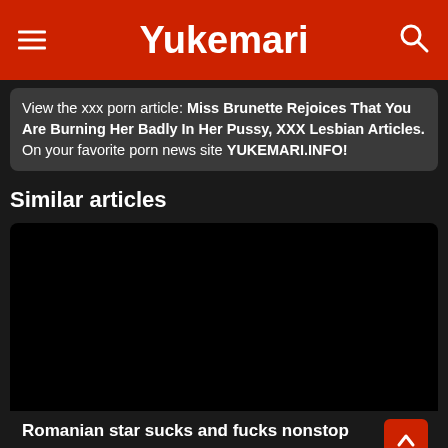Yukemari
View the xxx porn article: Miss Brunette Rejoices That You Are Burning Her Badly In Her Pussy, XXX Lesbian Articles. On your favorite porn news site YUKEMARI.INFO!
Similar articles
[Figure (photo): Black/dark thumbnail image for article]
Romanian star sucks and fucks nonstop
View the xxx porn article: Romanian star sucks and fucks nonstop, XXX Lesbian Articles. On your favorite porn news site